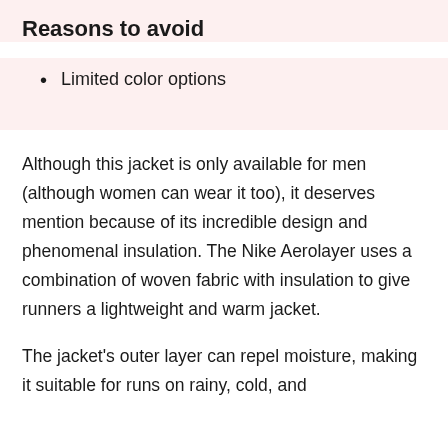Reasons to avoid
Limited color options
Although this jacket is only available for men (although women can wear it too), it deserves mention because of its incredible design and phenomenal insulation. The Nike Aerolayer uses a combination of woven fabric with insulation to give runners a lightweight and warm jacket.
The jacket's outer layer can repel moisture, making it suitable for runs on rainy, cold, and